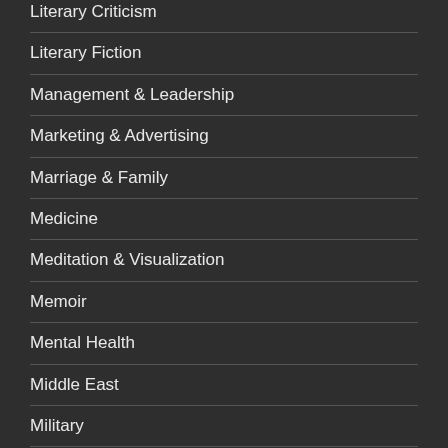Literary Criticism
Literary Fiction
Management & Leadership
Marketing & Advertising
Marriage & Family
Medicine
Meditation & Visualization
Memoir
Mental Health
Middle East
Military
Mindfulness & Meditation